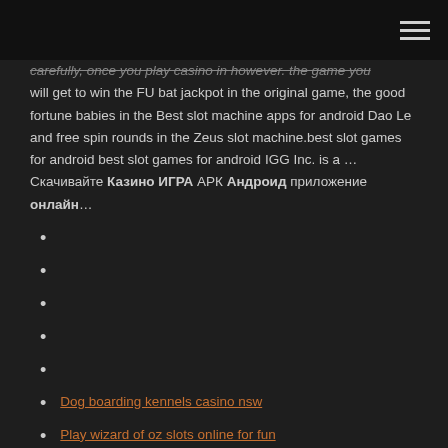[hamburger menu icon]
carefully, once you play casino in however. the game you will get to win the FU bat jackpot in the original game, the good fortune babies in the Best slot machine apps for android Dao Le and free spin rounds in the Zeus slot machine.best slot games for android best slot games for android IGG Inc. is a ... Скачивайте Казино ИГРА АРК Андроид приложение онлайн...
Dog boarding kennels casino nsw
Play wizard of oz slots online for fun